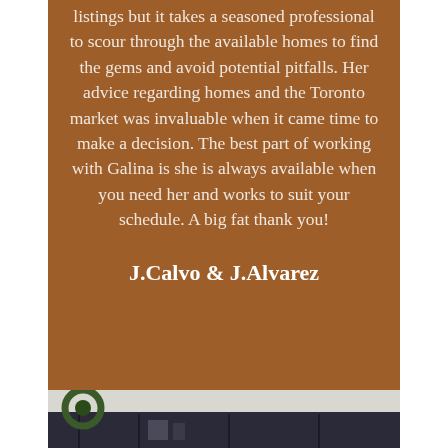listings but it takes a seasoned professional to scour through the available homes to find the gems and avoid potential pitfalls. Her advice regarding homes and the Toronto market was invaluable when it came time to make a decision. The best part of working with Galina is she is always available when you need her and works to suit your schedule. A big fat thank you!
J.Calvo & J.Alvarez
[Figure (photo): Interior photo showing a dark bookshelf/cabinet with white ceiling, decorative wreath visible on the left side]